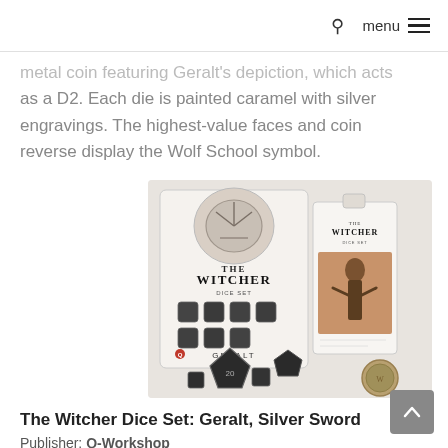🔍 menu ≡
metal coin featuring Geralt's depiction, which acts as a D2. Each die is painted caramel with silver engravings. The highest-value faces and coin reverse display the Wolf School symbol.
[Figure (photo): Product photo of The Witcher Dice Set: Geralt, Silver Sword. Shows dice set packaging with the WITCHER branding, several dark polyhedral dice with silver engravings, and a metal coin, labeled GERALT.]
The Witcher Dice Set: Geralt, Silver Sword
Publisher: Q-Workshop
Item Code: OWSSWGE37